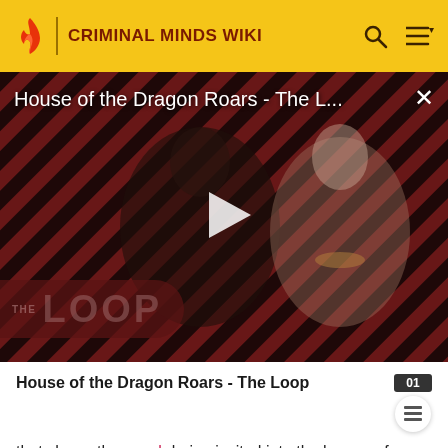CRIMINAL MINDS WIKI
[Figure (screenshot): Video player showing House of the Dragon Roars - The Loop with play button, diagonal red and black stripe background, two characters visible, THE LOOP watermark in bottom left]
House of the Dragon Roars - The Loop
that shows the unsub being invited into the homes of potential victims.
Guest Cast